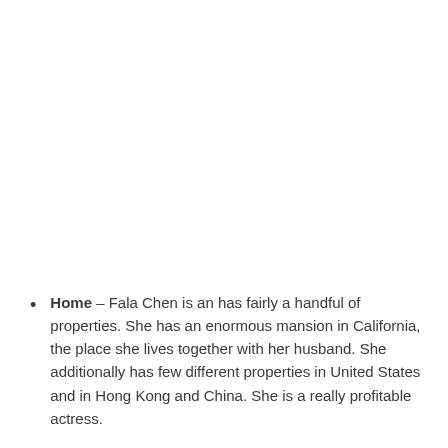Home – Fala Chen is an has fairly a handful of properties. She has an enormous mansion in California, the place she lives together with her husband. She additionally has few different properties in United States and in Hong Kong and China. She is a really profitable actress.